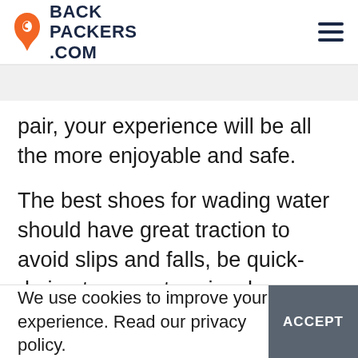BACK PACKERS .COM
pair, your experience will be all the more enjoyable and safe.
The best shoes for wading water should have great traction to avoid slips and falls, be quick-drying to cross terrains, be protective, and be comfortable. Of course, shoes are still an outfit accessory, so you want your water shoes to be stylish as well. Here are some of
We use cookies to improve your experience. Read our privacy policy.